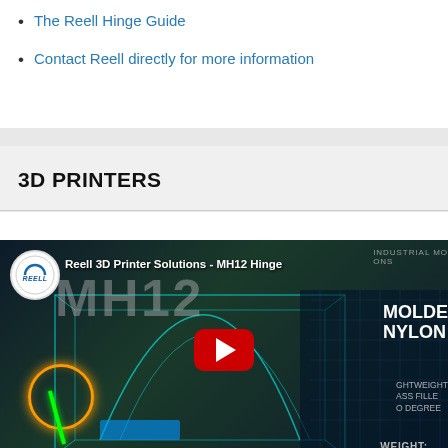The Reell Hinge Guide
Contact Reell directly for more information
3D PRINTERS
[Figure (screenshot): YouTube video thumbnail for 'Reell 3D Printer Solutions - MH12 Hinge' showing a 3D printer wireframe render with Reell logo, play button, and text: MOLDED NYLON, LIGHTWEIGHT, GLASS FILLED, 0 DEGREE, WEIGHT:]